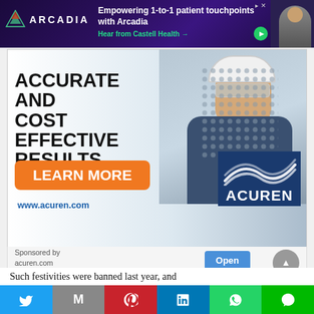[Figure (photo): Arcadia top banner ad: dark purple gradient background with Arcadia logo (triangle icon + 'ARCADIA' text), headline 'Empowering 1-to-1 patient touchpoints with Arcadia', subline 'Hear from Castell Health →', person photo on right with green play button overlay]
[Figure (photo): Acuren advertisement banner: Worker in white hard hat and safety glasses smiling, with text 'ACCURATE AND COST EFFECTIVE RESULTS', orange 'LEARN MORE' button, 'www.acuren.com' URL, and Acuren logo in dark blue box]
Sponsored by
acuren.com
Open
Such festivities were banned last year, and
[Figure (other): Social sharing bar with Twitter, Mail, Pinterest, LinkedIn, WhatsApp, and Line buttons]